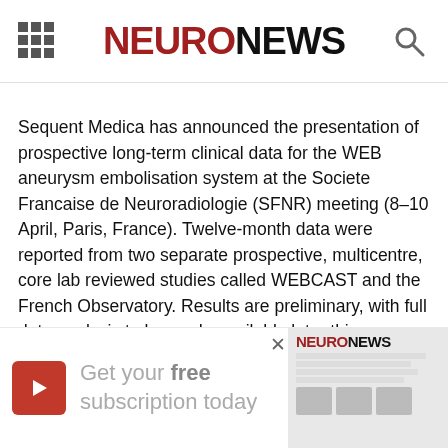NEURONEWS
Sequent Medica has announced the presentation of prospective long-term clinical data for the WEB aneurysm embolisation system at the Societe Francaise de Neuroradiologie (SFNR) meeting (8–10 April, Paris, France). Twelve-month data were reported from two separate prospective, multicentre, core lab reviewed studies called WEBCAST and the French Observatory. Results are preliminary, with full data analysis to be made available later this summer.
Safety
comple
treated
[Figure (advertisement): Advertisement banner: dark red arrow button, text 'Get your free subscription today', NeuroNews logo image on the right, X close button]